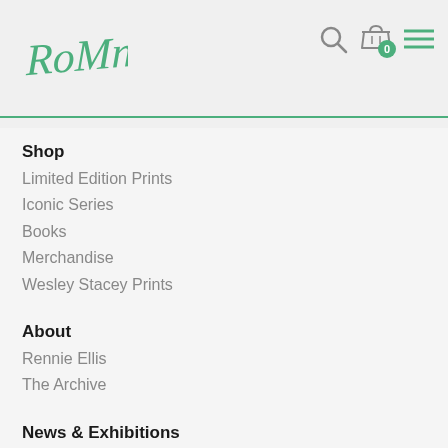[Figure (logo): Rennie Ellis cursive green signature logo]
[Figure (other): Navigation icons: search (magnifying glass), shopping basket with 0 badge, hamburger menu]
Shop
Limited Edition Prints
Iconic Series
Books
Merchandise
Wesley Stacey Prints
About
Rennie Ellis
The Archive
News & Exhibitions
Contact
Terms and conditions
Privacy Policy
Refund Policy
Delivery
Rennie Ellis
Photographer & Archive